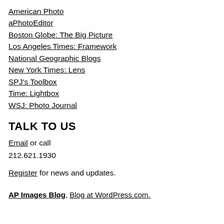American Photo
aPhotoEditor
Boston Globe: The Big Picture
Los Angeles Times: Framework
National Geographic Blogs
New York Times: Lens
SPJ's Toolbox
Time: Lightbox
WSJ: Photo Journal
TALK TO US
Email or call 212.621.1930
Register for news and updates.
AP Images Blog, Blog at WordPress.com.